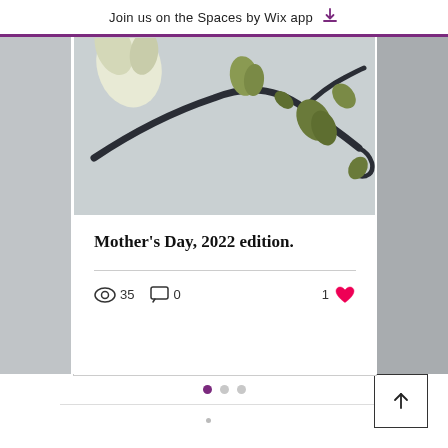Join us on the Spaces by Wix app
[Figure (photo): Close-up photo of orchid buds and stems on a light gray background]
Mother's Day, 2022 edition.
35 views  0 comments  1 like